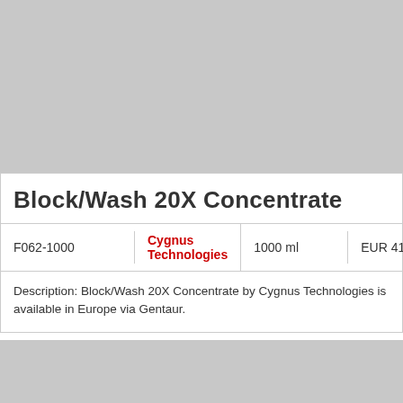[Figure (photo): Gray placeholder image block at top of page]
Block/Wash 20X Concentrate
| Catalog | Vendor | Size | Price |
| --- | --- | --- | --- |
| F062-1000 | Cygnus Technologies | 1000 ml | EUR 411 |
Description: Block/Wash 20X Concentrate by Cygnus Technologies is available in Europe via Gentaur.
[Figure (photo): Gray placeholder image block at bottom of page]